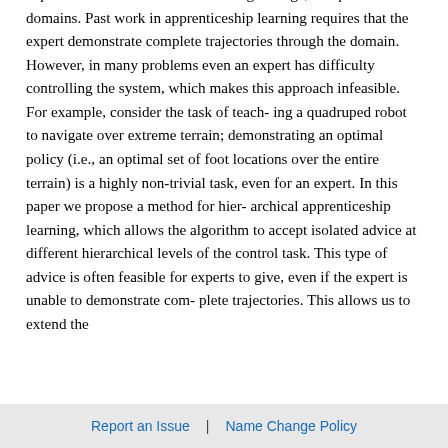We consider apprenticeship learning — learning from expert demonstrations—in the setting of large, complex domains. Past work in apprenticeship learning requires that the expert demonstrate complete trajectories through the domain. However, in many problems even an expert has difficulty controlling the system, which makes this approach infeasible. For example, consider the task of teach- ing a quadruped robot to navigate over extreme terrain; demonstrating an optimal policy (i.e., an optimal set of foot locations over the entire terrain) is a highly non-trivial task, even for an expert. In this paper we propose a method for hier- archical apprenticeship learning, which allows the algorithm to accept isolated advice at different hierarchical levels of the control task. This type of advice is often feasible for experts to give, even if the expert is unable to demonstrate com- plete trajectories. This allows us to extend the
Report an Issue  |  Name Change Policy